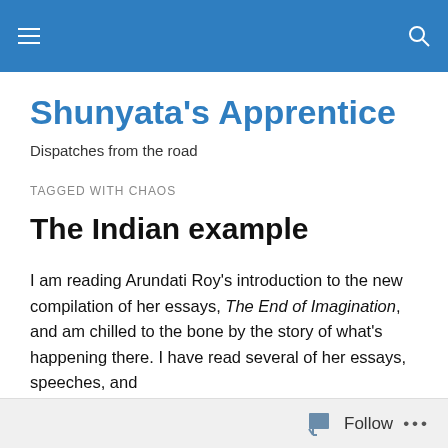Shunyata's Apprentice — navigation header with menu and search icons
Shunyata's Apprentice
Dispatches from the road
TAGGED WITH CHAOS
The Indian example
I am reading Arundati Roy's introduction to the new compilation of her essays, The End of Imagination, and am chilled to the bone by the story of what's happening there. I have read several of her essays, speeches, and
Follow ...